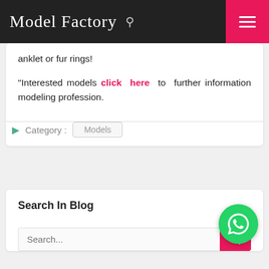Model Factory
anklet or fur rings!
"Interested models click here to further information modeling profession.
Category :  Models
Search In Blog